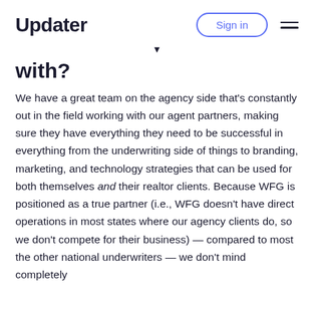Updater | Sign in
with?
We have a great team on the agency side that's constantly out in the field working with our agent partners, making sure they have everything they need to be successful in everything from the underwriting side of things to branding, marketing, and technology strategies that can be used for both themselves and their realtor clients. Because WFG is positioned as a true partner (i.e., WFG doesn't have direct operations in most states where our agency clients do, so we don't compete for their business) — compared to most the other national underwriters — we don't mind completely...